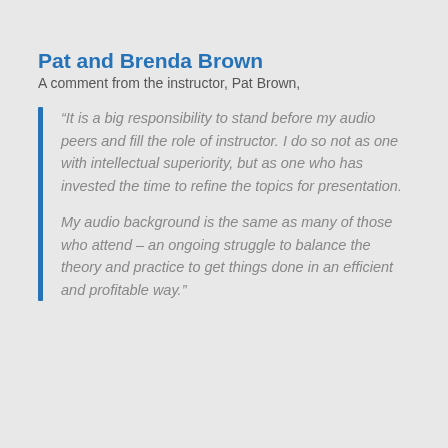Pat and Brenda Brown
A comment from the instructor, Pat Brown,
“It is a big responsibility to stand before my audio peers and fill the role of instructor. I do so not as one with intellectual superiority, but as one who has invested the time to refine the topics for presentation.

My audio background is the same as many of those who attend – an ongoing struggle to balance the theory and practice to get things done in an efficient and profitable way.”